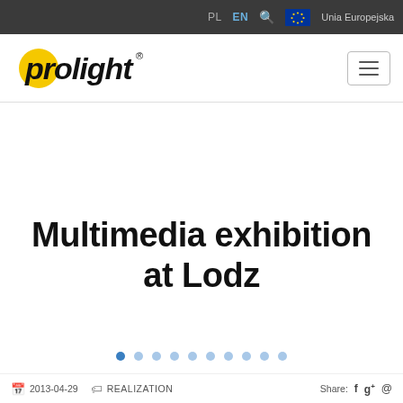PL  EN  🔍  Unia Europejska
[Figure (logo): Prolight company logo — black italic text 'prolight' with yellow circle on the 'o', registered trademark symbol]
Multimedia exhibition at Lodz
2013-04-29   REALIZATION   Share: f g+ @